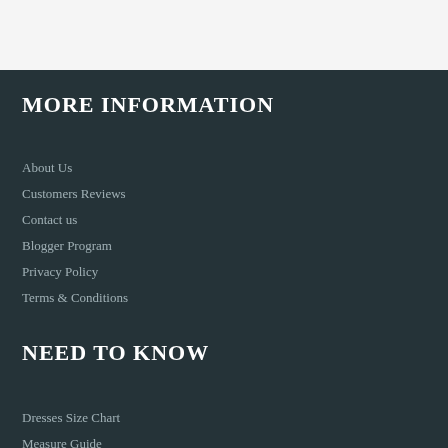MORE INFORMATION
About Us
Customers Reviews
Contact us
Blogger Program
Privacy Policy
Terms & Conditions
NEED TO KNOW
Dresses Size Chart
Measure Guide